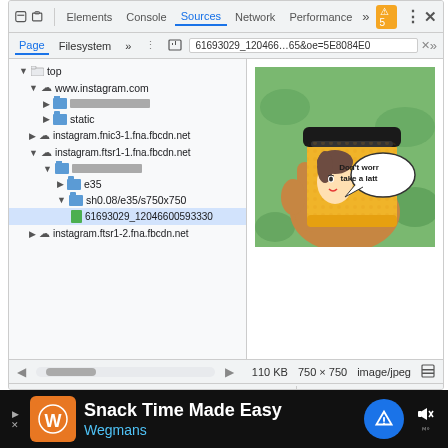[Figure (screenshot): Chrome DevTools browser screenshot showing Sources panel with file tree on left (top, www.instagram.com, static, instagram.fnic3-1.fna.fbcdn.net, instagram.ftsr1-1.fna.fbcdn.net with subfolders v/t[redacted], e35, sh0.08/e35/s750x750, file 61693029_12046600593330, instagram.ftsr1-2.fna.fbcdn.net) and preview of a JPEG image (hand holding coffee cup with 'Don't worry take a latte' pop-art design) on the right. Status bar shows 110 KB, 750x750, image/jpeg. Bottom shows debugger toolbar, Call Stack panel (Not paused), Scope and Watch panels (Not paused). An advertisement banner at the bottom shows 'Snack Time Made Easy - Wegmans'.]